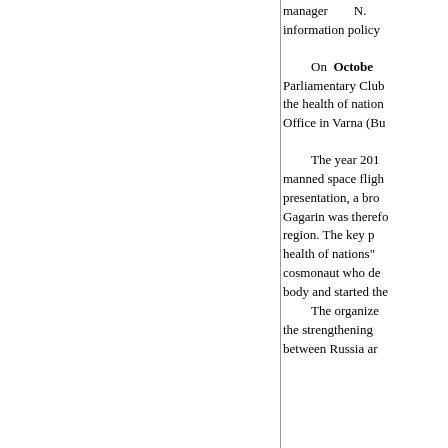manager N. information policy
On October Parliamentary Club the health of nation Office in Varna (Bu
The year 201 manned space fligh presentation, a bro Gagarin was therefo region. The key p health of nations" cosmonaut who de body and started the
The organize the strengthening between Russia ar